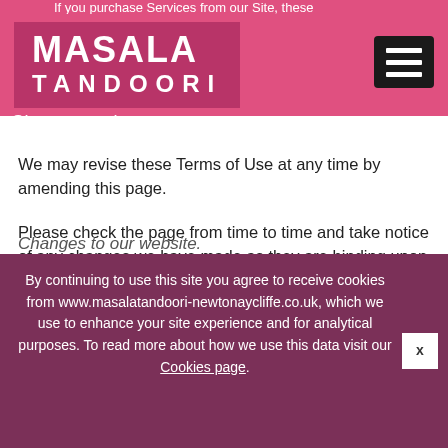If you purchase Services from our Site, these
[Figure (logo): Masala Tandoori restaurant logo — white bold text on pink/dark-pink background]
Changes to these terms
We may revise these Terms of Use at any time by amending this page.
Please check the page from time to time and take notice of any changes we have made as they are binding upon you; the date set out at the top of these terms shows the last date of revision.
Changes to our website.
By continuing to use this site you agree to receive cookies from www.masalatandoori-newtonaycliffe.co.uk, which we use to enhance your site experience and for analytical purposes. To read more about how we use this data visit our Cookies page.